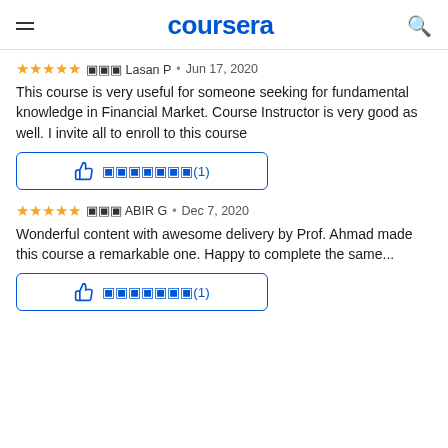coursera
★★★★★  ▪▪▪ Lasan P • Jun 17, 2020
This course is very useful for someone seeking for fundamental knowledge in Financial Market. Course Instructor is very good as well. I invite all to enroll to this course
▪▪▪▪▪▪▪(1)
★★★★★  ▪▪▪ ABIR G • Dec 7, 2020
Wonderful content with awesome delivery by Prof. Ahmad made this course a remarkable one. Happy to complete the same...
▪▪▪▪▪▪▪(1)